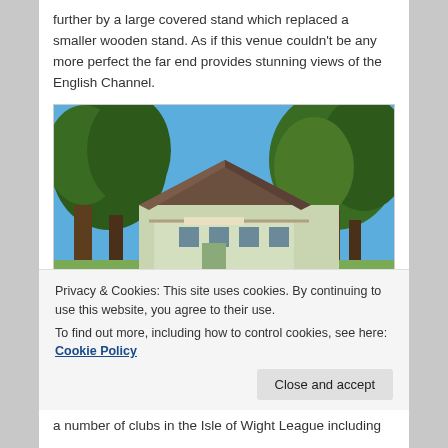further by a large covered stand which replaced a smaller wooden stand. As if this venue couldn't be any more perfect the far end provides stunning views of the English Channel.
[Figure (photo): Exterior photo of a light green single-storey building with a large hipped roof, surrounded by trees under a blue sky. The building appears to be a cricket or sports club pavilion.]
Privacy & Cookies: This site uses cookies. By continuing to use this website, you agree to their use.
To find out more, including how to control cookies, see here: Cookie Policy
a number of clubs in the Isle of Wight League including